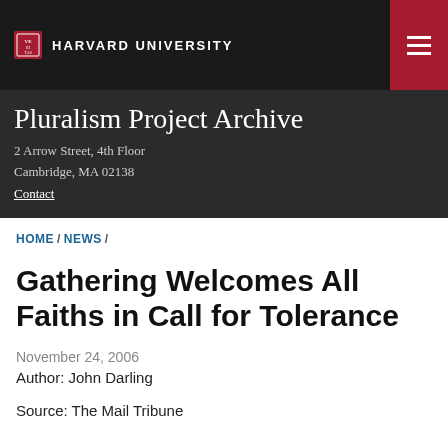HARVARD UNIVERSITY
Pluralism Project Archive
2 Arrow Street, 4th Floor
Cambridge, MA 02138
Contact
HOME / NEWS /
Gathering Welcomes All Faiths in Call for Tolerance
November 24, 2006
Author: John Darling
Source: The Mail Tribune